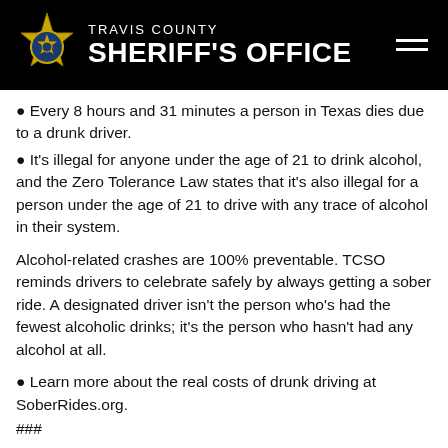TRAVIS COUNTY SHERIFF'S OFFICE
Every 8 hours and 31 minutes a person in Texas dies due to a drunk driver.
It's illegal for anyone under the age of 21 to drink alcohol, and the Zero Tolerance Law states that it's also illegal for a person under the age of 21 to drive with any trace of alcohol in their system.
Alcohol-related crashes are 100% preventable. TCSO reminds drivers to celebrate safely by always getting a sober ride. A designated driver isn't the person who's had the fewest alcoholic drinks; it's the person who hasn't had any alcohol at all.
Learn more about the real costs of drunk driving at SoberRides.org.
###